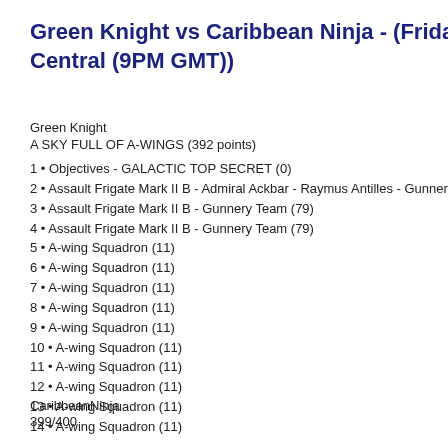Green Knight vs Caribbean Ninja - (Friday Central (9PM GMT))
Green Knight
A SKY FULL OF A-WINGS (392 points)
1 • Objectives - GALACTIC TOP SECRET (0)
2 • Assault Frigate Mark II B - Admiral Ackbar - Raymus Antilles - Gunner
3 • Assault Frigate Mark II B - Gunnery Team (79)
4 • Assault Frigate Mark II B - Gunnery Team (79)
5 • A-wing Squadron (11)
6 • A-wing Squadron (11)
7 • A-wing Squadron (11)
8 • A-wing Squadron (11)
9 • A-wing Squadron (11)
10 • A-wing Squadron (11)
11 • A-wing Squadron (11)
12 • A-wing Squadron (11)
13 • A-wing Squadron (11)
14 • A-wing Squadron (11)
CaribbeanNinja
399/400